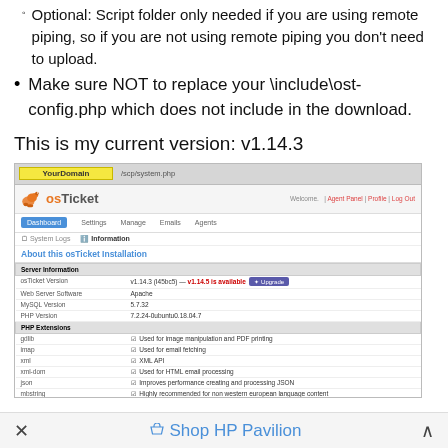Optional: Script folder only needed if you are using remote piping, so if you are not using remote piping you don't need to upload.
Make sure NOT to replace your \include\ost-config.php which does not include in the download.
This is my current version: v1.14.3
[Figure (screenshot): Screenshot of osTicket admin panel showing Server Information page with version v1.14.3 (I45bc5) and notification that v1.14.5 is available, along with server info: Apache, MySQL 5.7.32, PHP 7.2.24-0ubuntu0.18.04.7, and PHP Extensions list.]
✕   Shop HP Pavilion   ∧